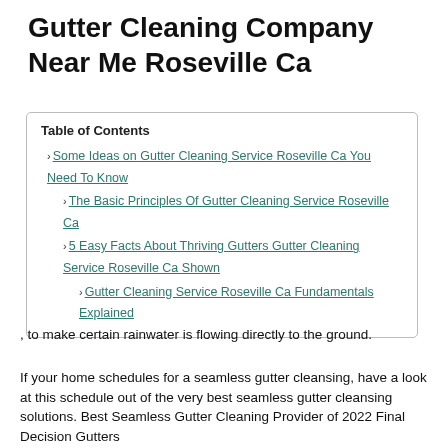Gutter Cleaning Company Near Me Roseville Ca
| Table of Contents |
| --- |
| Some Ideas on Gutter Cleaning Service Roseville Ca You Need To Know |
| The Basic Principles Of Gutter Cleaning Service Roseville Ca |
| 5 Easy Facts About Thriving Gutters Gutter Cleaning Service Roseville Ca Shown |
| Gutter Cleaning Service Roseville Ca Fundamentals Explained |
, to make certain rainwater is flowing directly to the ground.
If your home schedules for a seamless gutter cleansing, have a look at this schedule out of the very best seamless gutter cleansing solutions. Best Seamless Gutter Cleaning Provider of 2022 Final Decision Gutters